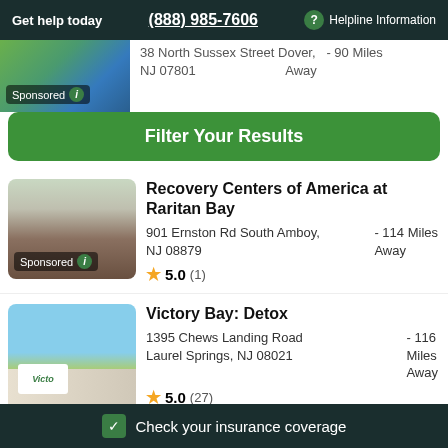Get help today  (888) 985-7606  ? Helpline Information
38 North Sussex Street Dover, NJ 07801  - 90 Miles Away
Sponsored
Filter Your Results
Recovery Centers of America at Raritan Bay
901 Ernston Rd South Amboy, NJ 08879  - 114 Miles Away
Sponsored
★ 5.0 (1)
Victory Bay: Detox
1395 Chews Landing Road Laurel Springs, NJ 08021  - 116 Miles Away
★ 5.0 (27)
✓ Check your insurance coverage